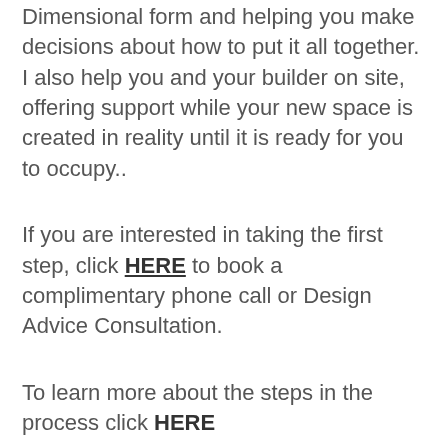Dimensional form and helping you make decisions about how to put it all together. I also help you and your builder on site, offering support while your new space is created in reality until it is ready for you to occupy..
If you are interested in taking the first step, click HERE to book a complimentary phone call or Design Advice Consultation.
To learn more about the steps in the process click HERE